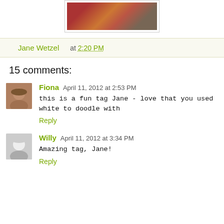[Figure (photo): Partial photo of a colorful artwork/tag visible at top of page, cropped]
Jane Wetzel at 2:20 PM
15 comments:
Fiona April 11, 2012 at 2:53 PM
this is a fun tag Jane - love that you used white to doodle with
Reply
Willy April 11, 2012 at 3:34 PM
Amazing tag, Jane!
Reply